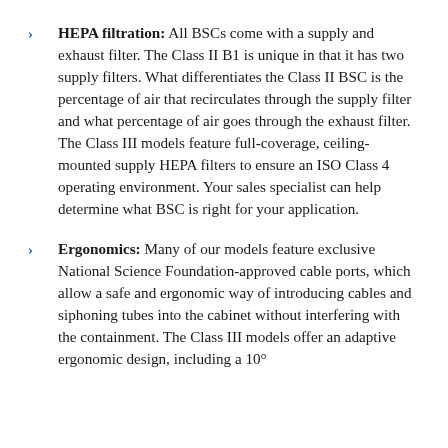HEPA filtration: All BSCs come with a supply and exhaust filter. The Class II B1 is unique in that it has two supply filters. What differentiates the Class II BSC is the percentage of air that recirculates through the supply filter and what percentage of air goes through the exhaust filter. The Class III models feature full-coverage, ceiling-mounted supply HEPA filters to ensure an ISO Class 4 operating environment. Your sales specialist can help determine what BSC is right for your application.
Ergonomics: Many of our models feature exclusive National Science Foundation-approved cable ports, which allow a safe and ergonomic way of introducing cables and siphoning tubes into the cabinet without interfering with the containment. The Class III models offer an adaptive ergonomic design, including a 10°